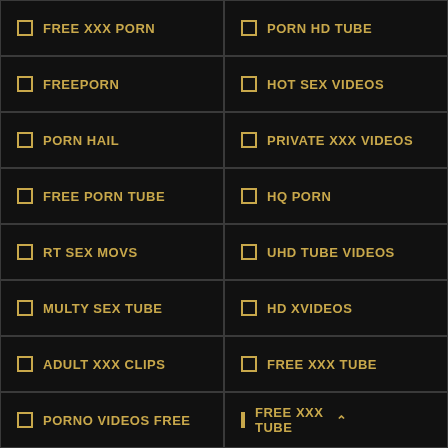FREE XXX PORN
PORN HD TUBE
FREEPORN
HOT SEX VIDEOS
PORN HAIL
PRIVATE XXX VIDEOS
FREE PORN TUBE
HQ PORN
RT SEX MOVS
UHD TUBE VIDEOS
MULTY SEX TUBE
HD XVIDEOS
ADULT XXX CLIPS
FREE XXX TUBE
PORNO VIDEOS FREE
FREE XXX TUBE